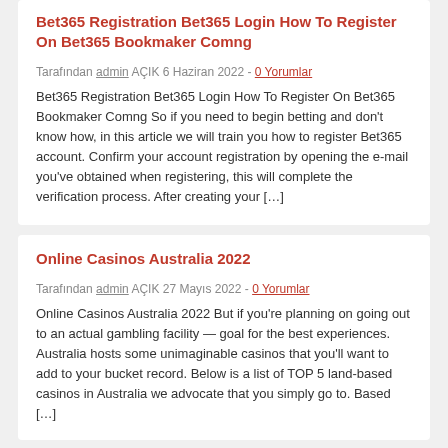Bet365 Registration Bet365 Login How To Register On Bet365 Bookmaker Comng
Tarafından admin AÇIK 6 Haziran 2022 - 0 Yorumlar
Bet365 Registration Bet365 Login How To Register On Bet365 Bookmaker Comng So if you need to begin betting and don't know how, in this article we will train you how to register Bet365 account. Confirm your account registration by opening the e-mail you've obtained when registering, this will complete the verification process. After creating your […]
Online Casinos Australia 2022
Tarafından admin AÇIK 27 Mayıs 2022 - 0 Yorumlar
Online Casinos Australia 2022 But if you're planning on going out to an actual gambling facility — goal for the best experiences. Australia hosts some unimaginable casinos that you'll want to add to your bucket record. Below is a list of TOP 5 land-based casinos in Australia we advocate that you simply go to. Based […]
En Çok Görüntülenen İlanlar
Azgın Esmer Unutulmaz Fiziğini Sevişirken Konuşturur